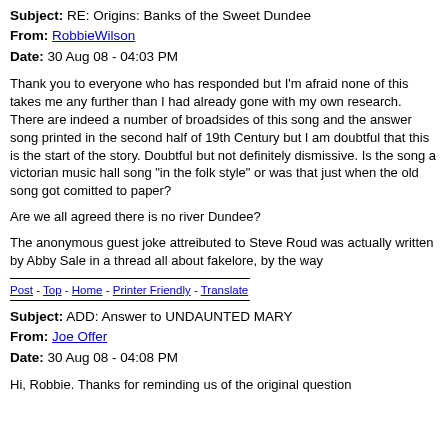Subject: RE: Origins: Banks of the Sweet Dundee
From: RobbieWilson
Date: 30 Aug 08 - 04:03 PM
Thank you to everyone who has responded but I'm afraid none of this takes me any further than I had already gone with my own research. There are indeed a number of broadsides of this song and the answer song printed in the second half of 19th Century but I am doubtful that this is the start of the story. Doubtful but not definitely dismissive. Is the song a victorian music hall song "in the folk style" or was that just when the old song got comitted to paper?
Are we all agreed there is no river Dundee?
The anonymous guest joke attreibuted to Steve Roud was actually written by Abby Sale in a thread all about fakelore, by the way
Post - Top - Home - Printer Friendly - Translate
Subject: ADD: Answer to UNDAUNTED MARY
From: Joe Offer
Date: 30 Aug 08 - 04:08 PM
Hi, Robbie. Thanks for reminding us of the original question